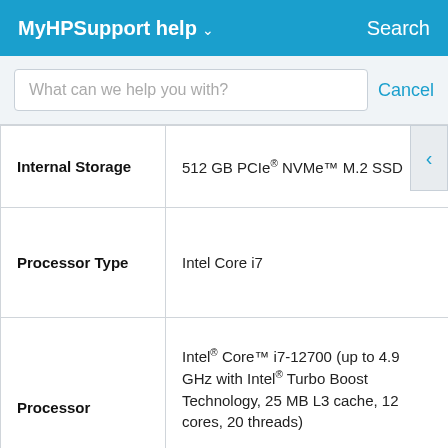MyHPSupport help   Search
What can we help you with?    Cancel
| Feature | Value |
| --- | --- |
| Internal Storage | 512 GB PCIe® NVMe™ M.2 SSD |
| Processor Type | Intel Core i7 |
| Processor | Intel® Core™ i7-12700 (up to 4.9 GHz with Intel® Turbo Boost Technology, 25 MB L3 cache, 12 cores, 20 threads) |
| (partial row) | 12th Generation Intel® Core™ i7... |